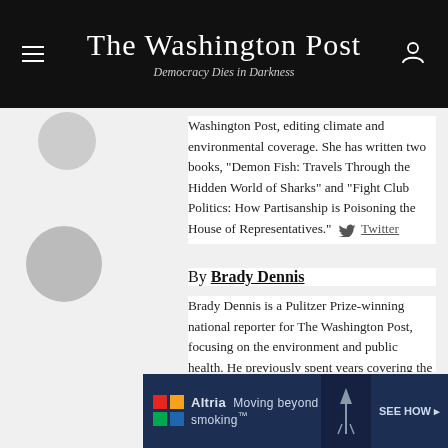The Washington Post
Democracy Dies in Darkness
Washington Post, editing climate and environmental coverage. She has written two books, "Demon Fish: Travels Through the Hidden World of Sharks" and "Fight Club Politics: How Partisanship is Poisoning the House of Representatives." Twitter
By Brady Dennis
Brady Dennis is a Pulitzer Prize-winning national reporter for The Washington Post, focusing on the environment and public health. He previously spent years covering the nation's economy. Twitter
[Figure (infographic): Altria advertisement banner with colored squares logo, text 'Moving beyond smoking', and 'SEE HOW' call to action]